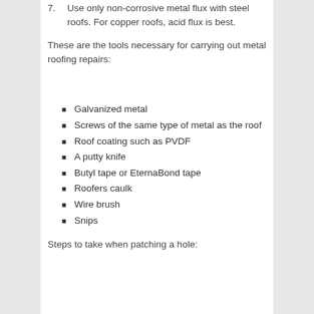7. Use only non-corrosive metal flux with steel roofs. For copper roofs, acid flux is best.
These are the tools necessary for carrying out metal roofing repairs:
Galvanized metal
Screws of the same type of metal as the roof
Roof coating such as PVDF
A putty knife
Butyl tape or EternaBond tape
Roofers caulk
Wire brush
Snips
Steps to take when patching a hole: